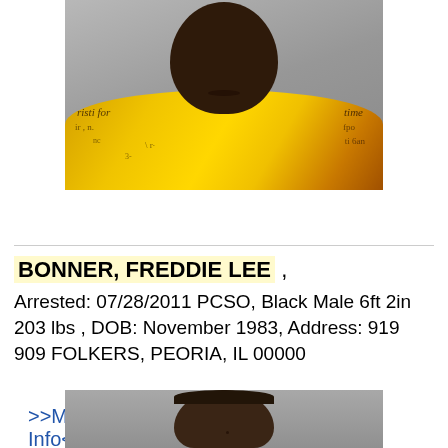[Figure (photo): Mugshot photo (top portion, cropped): person wearing a yellow graphic t-shirt with text/graphic design, gray background]
>>More Info<<
BONNER, FREDDIE LEE ,
Arrested: 07/28/2011 PCSO, Black Male 6ft 2in 203 lbs , DOB: November 1983, Address: 919 909 FOLKERS, PEORIA, IL 00000
[Figure (photo): Mugshot photo (bottom portion, cropped): person with short hair, gray background, head and shoulders visible]